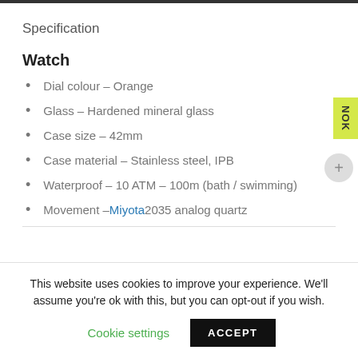Specification
Watch
Dial colour – Orange
Glass – Hardened mineral glass
Case size – 42mm
Case material – Stainless steel, IPB
Waterproof – 10 ATM – 100m (bath / swimming)
Movement – Miyota 2035 analog quartz
This website uses cookies to improve your experience. We'll assume you're ok with this, but you can opt-out if you wish.
Cookie settings
ACCEPT